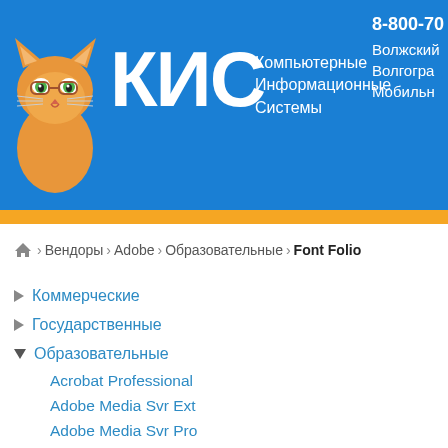[Figure (logo): KIS company header with orange cat logo, КИС text, subtitle Компьютерные Информационные Системы, phone number 8-800-70..., cities Волжский, Волгоград, Мобильн...]
🏠 › Вендоры › Adobe › Образовательные › Font Folio
▶ Коммерческие
▶ Государственные
▼ Образовательные
Acrobat Professional
Adobe Media Svr Ext
Adobe Media Svr Pro
Adobe Media Svr Std
Adobe TechnicalSuit
Captivate
Coldfusion Builder
ColdFusion Ent